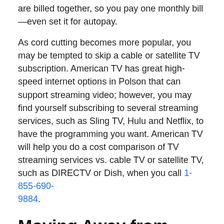are billed together, so you pay one monthly bill—even set it for autopay.
As cord cutting becomes more popular, you may be tempted to skip a cable or satellite TV subscription. American TV has great high-speed internet options in Polson that can support streaming video; however, you may find yourself subscribing to several streaming services, such as Sling TV, Hulu and Netflix, to have the programming you want. American TV will help you do a cost comparison of TV streaming services vs. cable TV or satellite TV, such as DIRECTV or Dish, when you call 1-855-690-9884.
Moving Away from Polson? See What Your Internet and TV Options Will Be at Your New Home